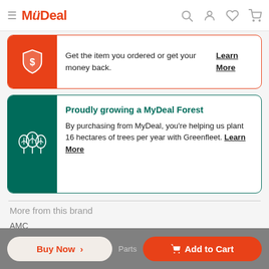MyDeal
Get the item you ordered or get your money back. Learn More
Proudly growing a MyDeal Forest
By purchasing from MyDeal, you're helping us plant 16 hectares of trees per year with Greenfleet. Learn More
More from this brand
AMC
Seller Information
Buy Now >   Parts   Add to Cart